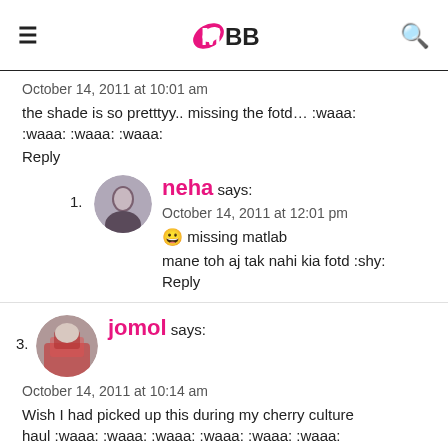IMBB
October 14, 2011 at 10:01 am
the shade is so pretttyy.. missing the fotd… :waaa: :waaa: :waaa: :waaa:
Reply
1. neha says:
October 14, 2011 at 12:01 pm
😀 missing matlab mane toh aj tak nahi kia fotd :shy:
Reply
3. jomol says:
October 14, 2011 at 10:14 am
Wish I had picked up this during my cherry culture haul :waaa: :waaa: :waaa: :waaa: :waaa: :waaa: